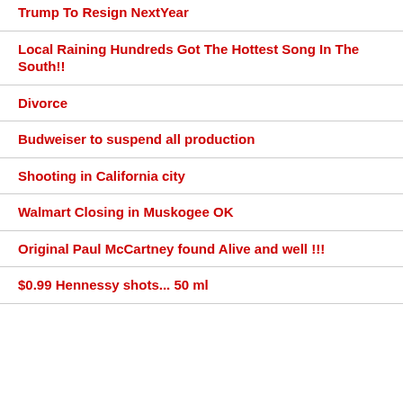Trump To Resign NextYear
Local Raining Hundreds Got The Hottest Song In The South!!
Divorce
Budweiser to suspend all production
Shooting in California city
Walmart Closing in Muskogee OK
Original Paul McCartney found Alive and well !!!
$0.99 Hennessy shots... 50 ml